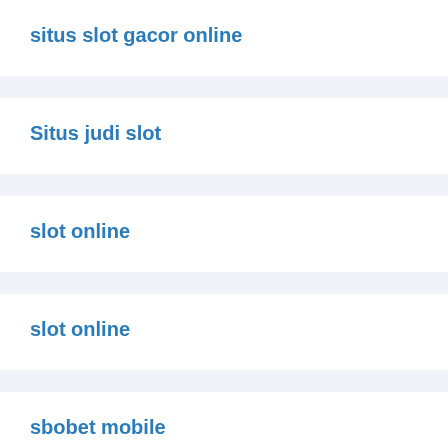situs slot gacor online
Situs judi slot
slot online
slot online
sbobet mobile